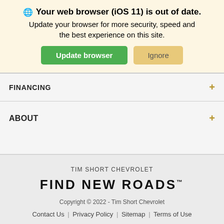Your web browser (iOS 11) is out of date. Update your browser for more security, speed and the best experience on this site. Update browser | Ignore
FINANCING +
ABOUT +
TIM SHORT CHEVROLET
FIND NEW ROADS™
Copyright © 2022 - Tim Short Chevrolet
Contact Us | Privacy Policy | Sitemap | Terms of Use
Search   Contact   Glovebox